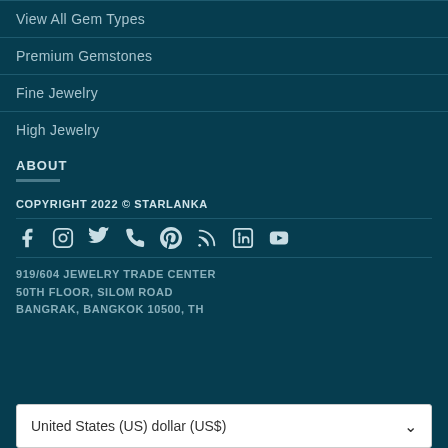View All Gem Types
Premium Gemstones
Fine Jewelry
High Jewelry
ABOUT
COPYRIGHT 2022 © STARLANKA
[Figure (infographic): Social media icons: Facebook, Instagram, Twitter, Phone, Pinterest, RSS, LinkedIn, YouTube]
919/604 JEWELRY TRADE CENTER
50TH FLOOR, SILOM ROAD
BANGRAK, BANGKOK 10500, TH
United States (US) dollar (US$)